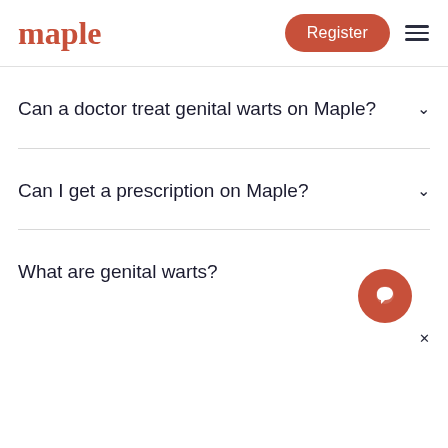maple | Register
Can a doctor treat genital warts on Maple?
Can I get a prescription on Maple?
What are genital warts?